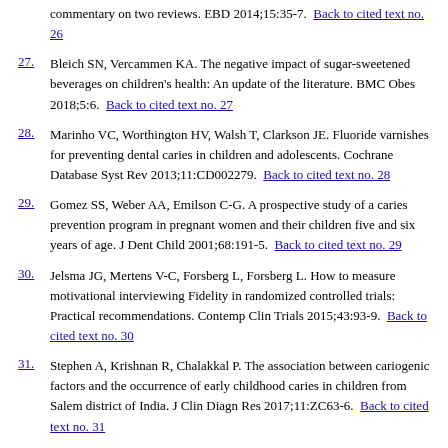commentary on two reviews. EBD 2014;15:35-7. Back to cited text no. 26
27. Bleich SN, Vercammen KA. The negative impact of sugar-sweetened beverages on children's health: An update of the literature. BMC Obes 2018;5:6. Back to cited text no. 27
28. Marinho VC, Worthington HV, Walsh T, Clarkson JE. Fluoride varnishes for preventing dental caries in children and adolescents. Cochrane Database Syst Rev 2013;11:CD002279. Back to cited text no. 28
29. Gomez SS, Weber AA, Emilson C-G. A prospective study of a caries prevention program in pregnant women and their children five and six years of age. J Dent Child 2001;68:191-5. Back to cited text no. 29
30. Jelsma JG, Mertens V-C, Forsberg L, Forsberg L. How to measure motivational interviewing Fidelity in randomized controlled trials: Practical recommendations. Contemp Clin Trials 2015;43:93-9. Back to cited text no. 30
31. Stephen A, Krishnan R, Chalakkal P. The association between cariogenic factors and the occurrence of early childhood caries in children from Salem district of India. J Clin Diagn Res 2017;11:ZC63-6. Back to cited text no. 31
32. Hoseini Haji SZ, Firoozi M, Asghari Pour N, Shakeri MT. Impact of motivational